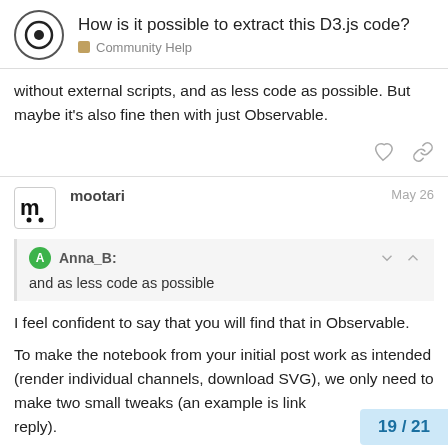How is it possible to extract this D3.js code? | Community Help
without external scripts, and as less code as possible. But maybe it's also fine then with just Observable.
mootari  May 26
Anna_B: and as less code as possible
I feel confident to say that you will find that in Observable.
To make the notebook from your initial post work as intended (render individual channels, download SVG), we only need to make two small tweaks (an example is link reply).